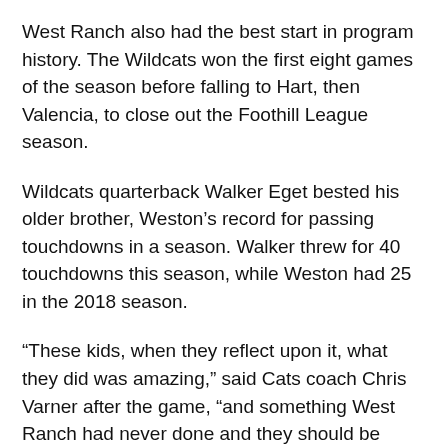West Ranch also had the best start in program history. The Wildcats won the first eight games of the season before falling to Hart, then Valencia, to close out the Foothill League season.
Wildcats quarterback Walker Eget bested his older brother, Weston's record for passing touchdowns in a season. Walker threw for 40 touchdowns this season, while Weston had 25 in the 2018 season.
“These kids, when they reflect upon it, what they did was amazing,” said Cats coach Chris Varner after the game, “and something West Ranch had never done and they should be really proud of themselves.”